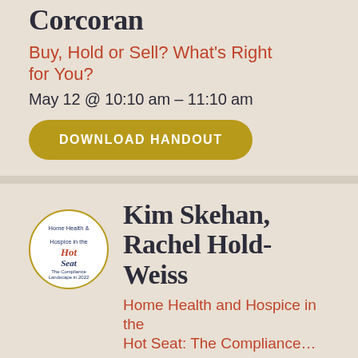Corcoran
Buy, Hold or Sell? What's Right for You?
May 12 @ 10:10 am – 11:10 am
DOWNLOAD HANDOUT
[Figure (logo): Home Health & Hospice in the Hot Seat – The Compliance Landscape in 2022 circular badge/logo]
Kim Skehan, Rachel Hold-Weiss
Home Health and Hospice in the Hot Seat: The Compliance…